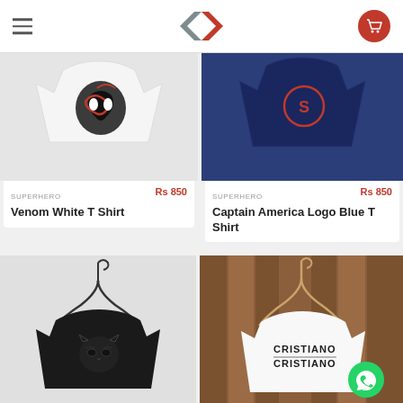[Figure (logo): Printlo diamond/arrow logo in red and grey]
[Figure (photo): Venom White T Shirt product photo, white tshirt with Venom graphic]
SUPERHERO
Rs 850
Venom White T Shirt
[Figure (photo): Captain America Logo Blue T Shirt product photo, dark blue tshirt with Captain America logo]
SUPERHERO
Rs 850
Captain America Logo Blue T Shirt
[Figure (photo): Black Panther black t-shirt on hanger, light grey background]
[Figure (photo): Cristiano white t-shirt on wooden hanger with wooden wall background, with WhatsApp button overlay]